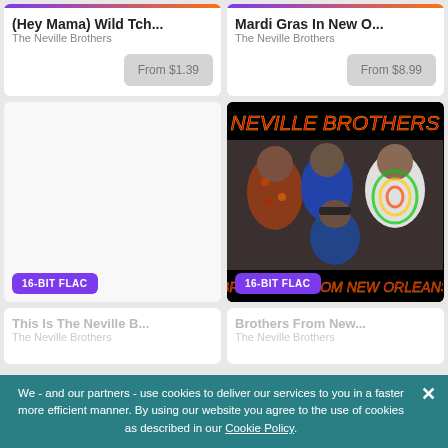(Hey Mama) Wild Tch...
The Neville Brothers
From $1.39
Mardi Gras In New O...
The Neville Brothers
From $8.99
[Figure (photo): Left card with 16-BIT FLAC badge, blank/white placeholder image]
[Figure (photo): Neville Brothers album cover 'Brothers From New Orleans' - band photo with members, red text on black background, 16-BIT FLAC badge]
This Is The Neville B...
The Neville Brothers
Brothers From New...
The Neville Brothers
We - and our partners - use cookies to deliver our services to you in a faster more efficient manner. By using our website you agree to the use of cookies as described in our Cookie Policy.